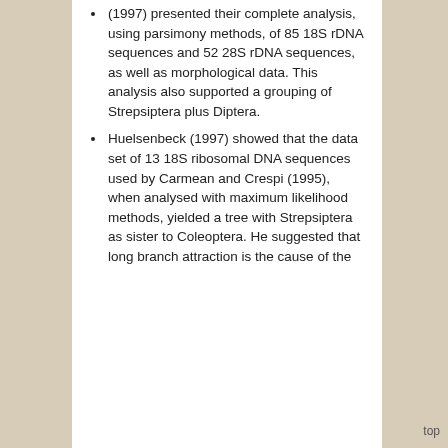(1997) presented their complete analysis, using parsimony methods, of 85 18S rDNA sequences and 52 28S rDNA sequences, as well as morphological data. This analysis also supported a grouping of Strepsiptera plus Diptera.
Huelsenbeck (1997) showed that the data set of 13 18S ribosomal DNA sequences used by Carmean and Crespi (1995), when analysed with maximum likelihood methods, yielded a tree with Strepsiptera as sister to Coleoptera. He suggested that long branch attraction is the cause of the